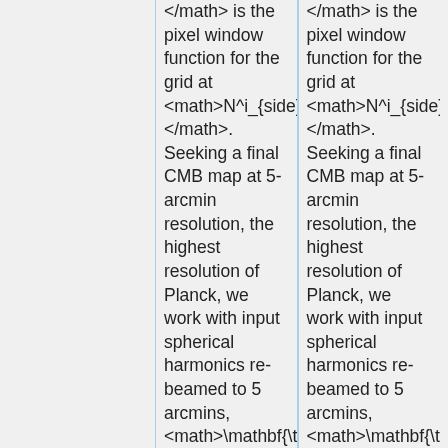</math> is the pixel window function for the grid at <math>N^i_{side}</math>. Seeking a final CMB map at 5-arcmin resolution, the highest resolution of Planck, we work with input spherical harmonics re-beamed to 5 arcmins, <math>\mathbf{\tilde{x}}_{\ell m}</math>; that is, SMICA operates on vectors with
</math> is the pixel window function for the grid at <math>N^i_{side}</math>. Seeking a final CMB map at 5-arcmin resolution, the highest resolution of Planck, we work with input spherical harmonics re-beamed to 5 arcmins, <math>\mathbf{\tilde{x}}_{\ell m}</math>; that is, SMICA operates on vectors with